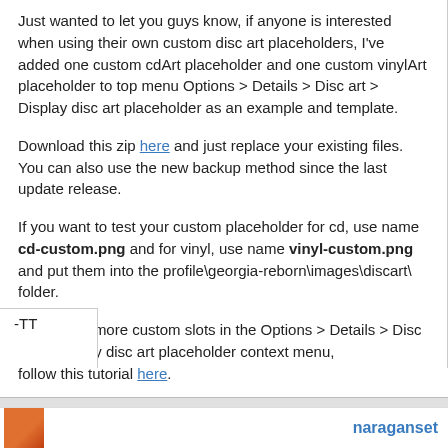Just wanted to let you guys know, if anyone is interested when using their own custom disc art placeholders, I've added one custom cdArt placeholder and one custom vinylArt placeholder to top menu Options > Details > Disc art > Display disc art placeholder as an example and template.
Download this zip here and just replace your existing files. You can also use the new backup method since the last update release.
If you want to test your custom placeholder for cd, use name cd-custom.png and for vinyl, use name vinyl-custom.png and put them into the profile\georgia-reborn\images\discart\ folder.
For adding more custom slots in the Options > Details > Disc art > Display disc art placeholder context menu, follow this tutorial here.
-TT
naraganset